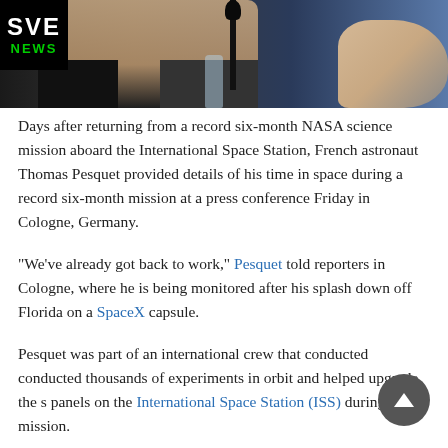[Figure (photo): A man (French astronaut Thomas Pesquet) speaking at a press conference, with a microphone in the foreground and a hand gesturing on the right. SVE NEWS logo in top-left corner.]
Days after returning from a record six-month NASA science mission aboard the International Space Station, French astronaut Thomas Pesquet provided details of his time in space during a record six-month mission at a press conference Friday in Cologne, Germany.
“We’ve already got back to work,” Pesquet told reporters in Cologne, where he is being monitored after his splash down off Florida on a SpaceX capsule.
Pesquet was part of an international crew that conducted conducted thousands of experiments in orbit and helped upgrade the s panels on the International Space Station (ISS) during their ' mission.